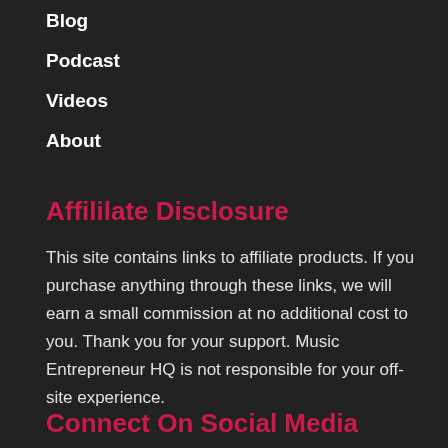Blog
Podcast
Videos
About
Affililate Disclosure
This site contains links to affiliate products. If you purchase anything through these links, we will earn a small commission at no additional cost to you. Thank you for your support. Music Entrepreneur HQ is not responsible for your off-site experience.
Connect On Social Media